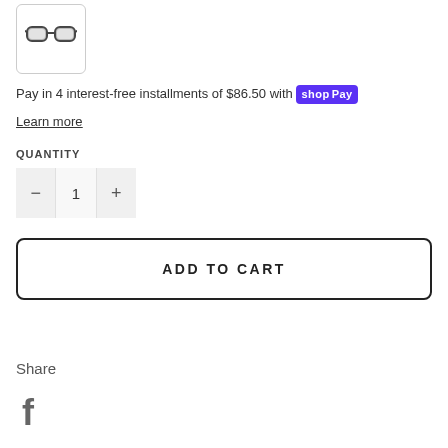[Figure (photo): Small product thumbnail showing sunglasses in a rounded rectangle border]
Pay in 4 interest-free installments of $86.50 with shop Pay
Learn more
QUANTITY
[Figure (other): Quantity selector control with minus button, value 1, and plus button]
ADD TO CART
Share
[Figure (other): Facebook share icon (lowercase f)]